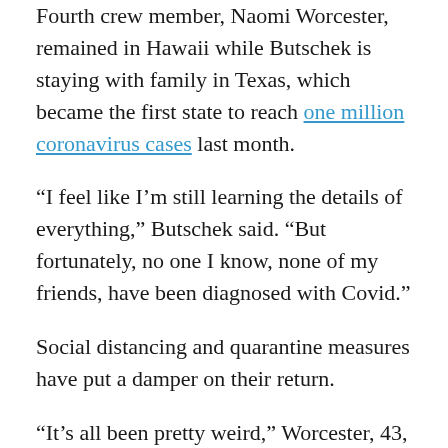Fourth crew member, Naomi Worcester, remained in Hawaii while Butschek is staying with family in Texas, which became the first state to reach one million coronavirus cases last month.
“I feel like I’m still learning the details of everything,” Butschek said. “But fortunately, no one I know, none of my friends, have been diagnosed with Covid.”
Social distancing and quarantine measures have put a damper on their return.
“It’s all been pretty weird,” Worcester, 43, told CNN. “There was having to say goodbye to everyone at the airport. I’m happy about all of the great food — nonperishable food — that we get to eat now. But I haven’t had one hug since I’ve been back.”
And it’s not the same when it comes to the little things...